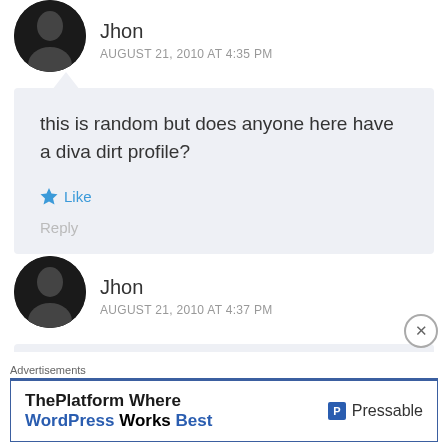Jhon
AUGUST 21, 2010 AT 4:35 PM
this is random but does anyone here have a diva dirt profile?
Like
Reply
Jhon
AUGUST 21, 2010 AT 4:37 PM
Advertisements
ThePlatform Where WordPress Works Best
Pressable